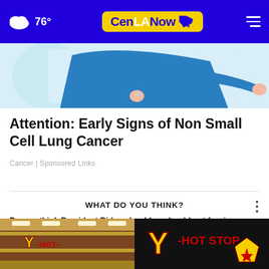76° CenLANow
[Figure (illustration): Partial illustration of a person in blue clothing running or leaning forward, shown from torso down]
Attention: Early Signs of Non Small Cell Lung Cancer
Cancer | Sponsored Links
WHAT DO YOU THINK?
Do you think President Biden should or should not forgive more than $10,000 in student loans per borrower?
Definitely should
[Figure (photo): Advertisement: Y-NOT STOP store interior on left, Y-NOT STOP logo on black background on right]